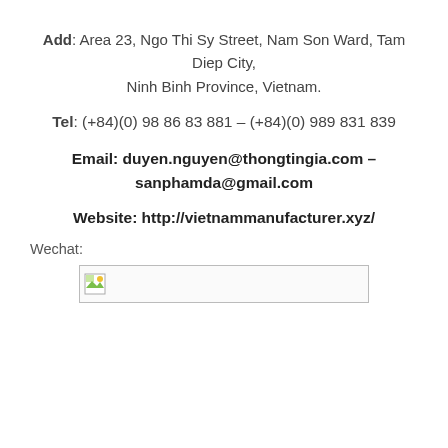Add: Area 23, Ngo Thi Sy Street, Nam Son Ward, Tam Diep City, Ninh Binh Province, Vietnam.
Tel: (+84)(0) 98 86 83 881 – (+84)(0) 989 831 839
Email: duyen.nguyen@thongtingia.com – sanphamda@gmail.com
Website: http://vietnammanufacturer.xyz/
Wechat:
[Figure (photo): Broken image placeholder for a Wechat QR code or image]